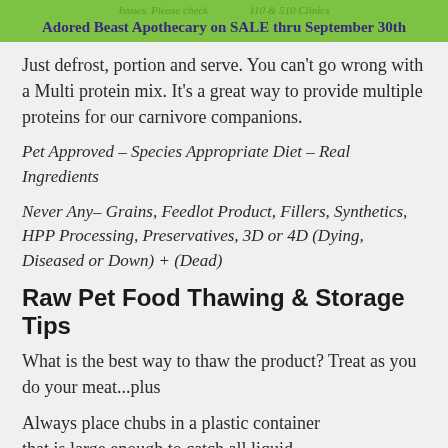Issues. Please check ... 110 & 510 Clinics
Adored Beast Apothecary on SALE thru September 30th
Just defrost, portion and serve. You can't go wrong with a Multi protein mix. It's a great way to provide multiple proteins for our carnivore companions.
Pet Approved – Species Appropriate Diet – Real Ingredients
Never Any– Grains, Feedlot Product, Fillers, Synthetics, HPP Processing, Preservatives, 3D or 4D (Dying, Diseased or Down) + (Dead)
Raw Pet Food Thawing & Storage Tips
What is the best way to thaw the product? Treat as you do your meat...plus
Always place chubs in a plastic container that is large enough to catch all liquid, you'll need to mix that back and feed it for your pet to benefit from all the nutrients.
[Figure (logo): Purple circle with white square containing a small animal/pet logo inside]